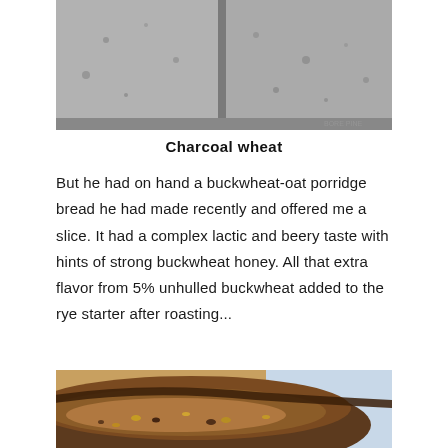[Figure (photo): Top-down view of charcoal wheat bread loaves with dark grey surface texture, multiple rolls visible]
Charcoal wheat
But he had on hand a buckwheat-oat porridge bread he had made recently and offered me a slice. It had a complex lactic and beery taste with hints of strong buckwheat honey. All that extra flavor from 5% unhulled buckwheat added to the rye starter after roasting...
[Figure (photo): Close-up cross-section of a sliced loaf of buckwheat-oat porridge bread showing dark interior crumb with grain inclusions]